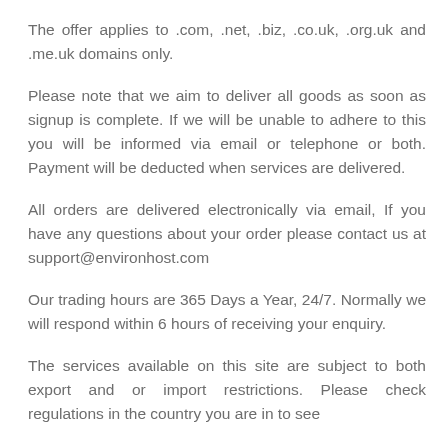The offer applies to .com, .net, .biz, .co.uk, .org.uk and .me.uk domains only.
Please note that we aim to deliver all goods as soon as signup is complete. If we will be unable to adhere to this you will be informed via email or telephone or both. Payment will be deducted when services are delivered.
All orders are delivered electronically via email, If you have any questions about your order please contact us at support@environhost.com
Our trading hours are 365 Days a Year, 24/7. Normally we will respond within 6 hours of receiving your enquiry.
The services available on this site are subject to both export and or import restrictions. Please check regulations in the country you are in to see